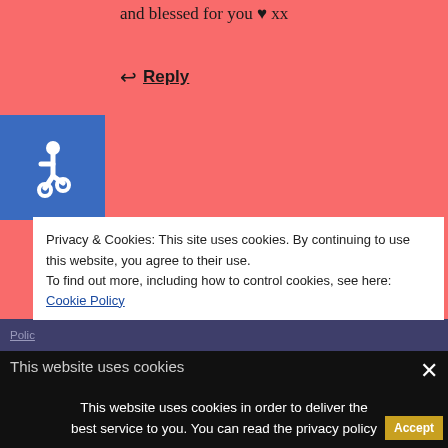and blessed for you ♥ xx
↩ Reply
[Figure (illustration): Blue accessibility wheelchair icon box]
[Figure (photo): Avatar photo of Rebecca Sullivan]
Rebecca Sullivan
FEBRUARY 17, 2018 AT 12:09 PM
Thank you so much for your words! !
↩ Reply
Privacy & Cookies: This site uses cookies. By continuing to use this website, you agree to their use.
To find out more, including how to control cookies, see here: Cookie Policy
This website uses cookies
This website uses cookies in order to deliver the best service to you. You can read the privacy policy